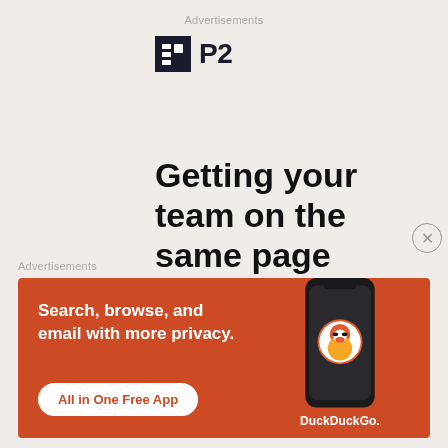Advertisements
[Figure (logo): P2 logo: dark navy square icon with a stylized 'P' glyph, followed by bold text 'P2']
Getting your team on the same page is easy. And free.
Advertisements
[Figure (infographic): DuckDuckGo advertisement banner with orange background. Text: 'Search, browse, and email with more privacy. All in One Free App'. Shows a smartphone with DuckDuckGo logo and 'DuckDuckGo.' label.]